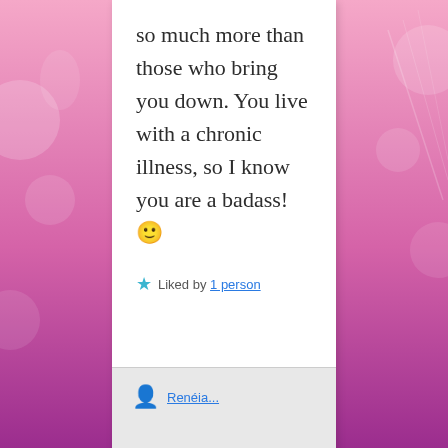so much more than those who bring you down. You live with a chronic illness, so I know you are a badass! 🙂
★ Liked by 1 person